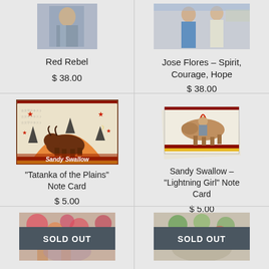[Figure (photo): Red Rebel artwork - partial figure in grey/blue tones]
Red Rebel
$ 38.00
[Figure (photo): Jose Flores Spirit Courage Hope - two figures standing]
Jose Flores – Spirit, Courage, Hope
$ 38.00
[Figure (illustration): Sandy Swallow Tatanka of the Plains note card - buffalo under orange/red sky with stars]
"Tatanka of the Plains" Note Card
$ 5.00
[Figure (illustration): Sandy Swallow Lightning Girl note card - rider on horse]
Sandy Swallow – "Lightning Girl" Note Card
$ 5.00
[Figure (photo): Partially visible artwork - floral/colorful pattern, SOLD OUT]
SOLD OUT
[Figure (photo): Partially visible artwork - tropical floral pattern, SOLD OUT]
SOLD OUT